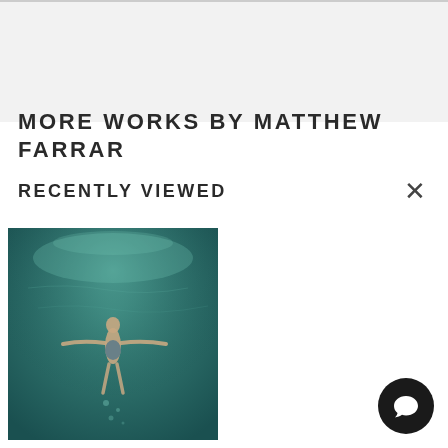MORE WORKS BY MATTHEW FARRAR
RECENTLY VIEWED
[Figure (photo): Underwater photo of a person with arms outstretched, floating in teal/green water, viewed from below]
[Figure (other): Black circular chat/messenger button with white speech bubble icon]